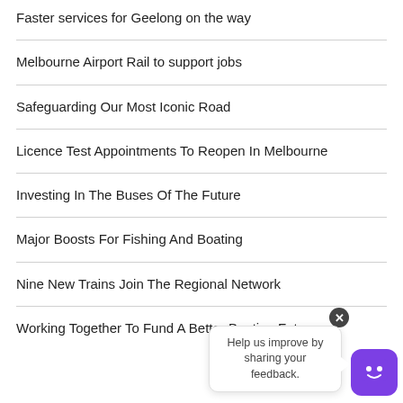Faster services for Geelong on the way
Melbourne Airport Rail to support jobs
Safeguarding Our Most Iconic Road
Licence Test Appointments To Reopen In Melbourne
Investing In The Buses Of The Future
Major Boosts For Fishing And Boating
Nine New Trains Join The Regional Network
Working Together To Fund A Better Boating Future
[Figure (other): Chatbot widget with speech bubble saying 'Help us improve by sharing your feedback.' and a purple smiley face icon with a close button.]